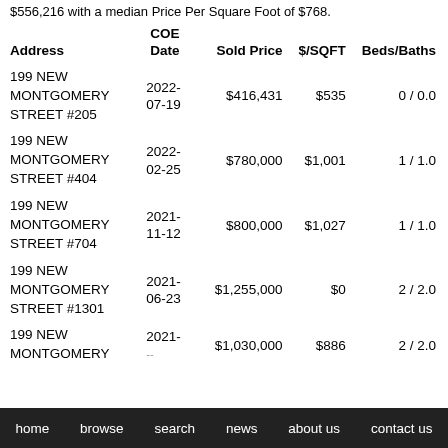$556,216 with a median Price Per Square Foot of $768.
| Address | COE Date | Sold Price | $/SQFT | Beds/Baths |
| --- | --- | --- | --- | --- |
| 199 NEW MONTGOMERY STREET #205 | 2022-07-19 | $416,431 | $535 | 0 / 0.0 |
| 199 NEW MONTGOMERY STREET #404 | 2022-02-25 | $780,000 | $1,001 | 1 / 1.0 |
| 199 NEW MONTGOMERY STREET #704 | 2021-11-12 | $800,000 | $1,027 | 1 / 1.0 |
| 199 NEW MONTGOMERY STREET #1301 | 2021-06-23 | $1,255,000 | $0 | 2 / 2.0 |
| 199 NEW MONTGOMERY STREET | 2021- | $1,030,000 | $886 | 2 / 2.0 |
home  browse  search  news  about us  contact us